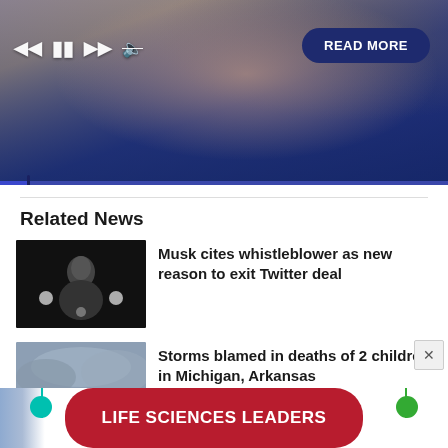[Figure (screenshot): Video player showing athlete (tennis player) with playback controls (skip back, pause, skip forward, mute) and a READ MORE button overlay on dark blue background]
Related News
[Figure (photo): Photo of Elon Musk speaking on dark stage with lights]
Musk cites whistleblower as new reason to exit Twitter deal
[Figure (photo): Photo of stormy clouds over landscape]
Storms blamed in deaths of 2 children in Michigan, Arkansas
[Figure (infographic): Advertisement banner: LIFE SCIENCES LEADERS with teal and green decorative circles on red rounded background]